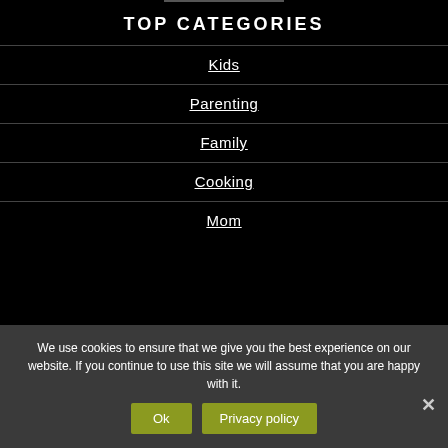TOP CATEGORIES
Kids
Parenting
Family
Cooking
Mom
We use cookies to ensure that we give you the best experience on our website. If you continue to use this site we will assume that you are happy with it.
Ok
Privacy policy